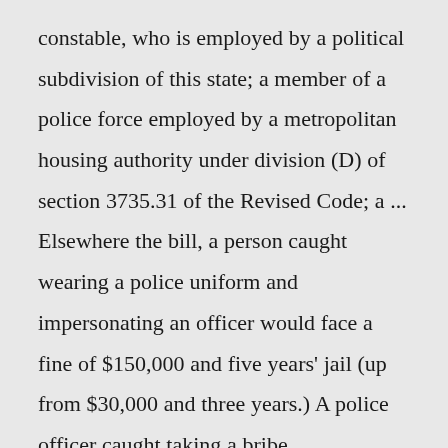constable, who is employed by a political subdivision of this state; a member of a police force employed by a metropolitan housing authority under division (D) of section 3735.31 of the Revised Code; a ... Elsewhere the bill, a person caught wearing a police uniform and impersonating an officer would face a fine of $150,000 and five years' jail (up from $30,000 and three years.) A police officer caught taking a bribe